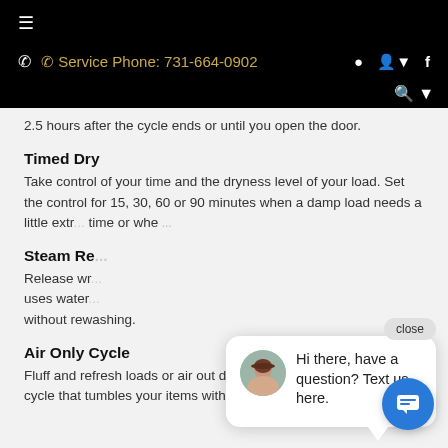☰  ☎ Service Phone: 731-664-0902  📍  👤▾  f  🔍▾
2.5 hours after the cycle ends or until you open the door.
Timed Dry
Take control of your time and the dryness level of your load. Set the control for 15, 30, 60 or 90 minutes when a damp load needs a little extra time or whe...
Steam Re...
Release wr... uses water... without rewashing.
Air Only Cycle
Fluff and refresh loads or air out delicates with... cycle that tumbles your items with no heat.